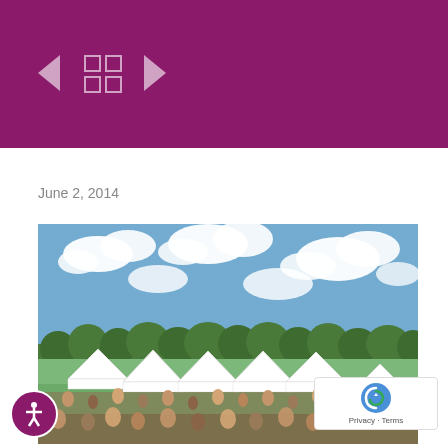[Figure (screenshot): Purple banner navigation bar with left arrow, grid/menu icon, and right arrow controls in white outline style on magenta/purple background]
June 2, 2014
[Figure (photo): Outdoor festival or fair scene with white tent canopies and a crowd of people gathered on a grassy field under a partly cloudy blue sky, with trees in the background]